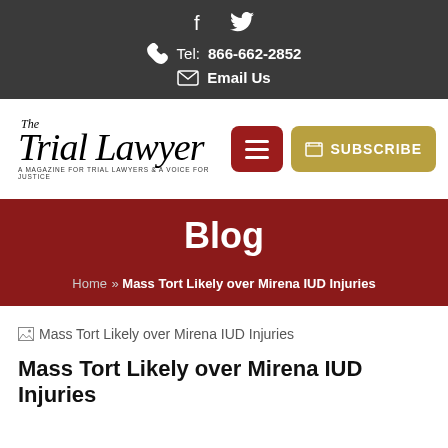f  ✦  Tel: 866-662-2852  ✦  Email Us
[Figure (logo): The Trial Lawyer magazine logo with tagline 'A magazine for trial lawyers & a voice for justice', with red hamburger menu button and gold Subscribe button]
Blog
Home » Mass Tort Likely over Mirena IUD Injuries
[Figure (photo): Broken image placeholder with alt text: Mass Tort Likely over Mirena IUD Injuries]
Mass Tort Likely over Mirena IUD Injuries